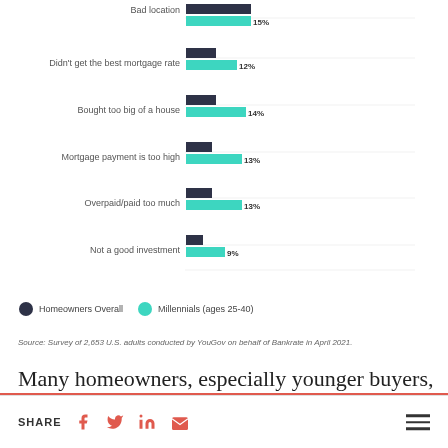[Figure (grouped-bar-chart): Homeowner regrets]
Homeowners Overall   Millennials (ages 25-40)
Source: Survey of 2,653 U.S. adults conducted by YouGov on behalf of Bankrate in April 2021.
Many homeowners, especially younger buyers, have to make compromises on the house they